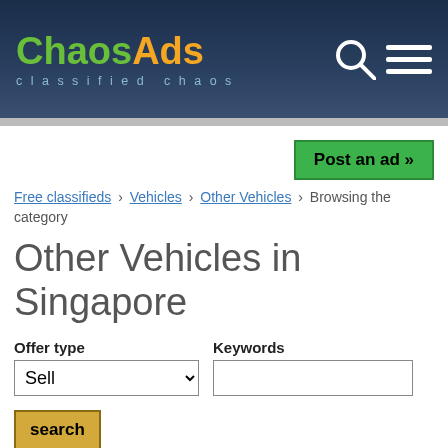[Figure (logo): ChaosAds classified chaos logo with green 'Chaos' and orange 'Ads' text on dark navy header, with search and menu icons on the right]
Post an ad »
Free classifieds › Vehicles › Other Vehicles › Browsing the category
Other Vehicles in Singapore
Offer type
Keywords
search